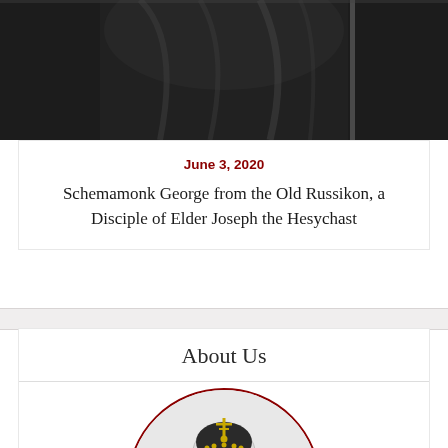[Figure (photo): Black and white photograph of a monk/schemamonk in dark robes, partial view cropped at top of page]
June 3, 2020
Schemamonk George from the Old Russikon, a Disciple of Elder Joseph the Hesychast
About Us
[Figure (photo): Circular cropped photograph of an Orthodox church with white domed architecture and golden cross on top, framed by a dark red/maroon circle border]